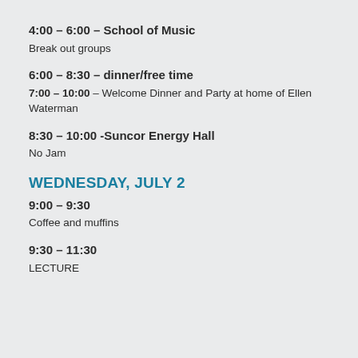4:00 – 6:00 – School of Music
Break out groups
6:00 – 8:30 – dinner/free time
7:00 – 10:00 – Welcome Dinner and Party at home of Ellen Waterman
8:30 – 10:00 -Suncor Energy Hall
No Jam
WEDNESDAY, JULY 2
9:00 – 9:30
Coffee and muffins
9:30 – 11:30
LECTURE